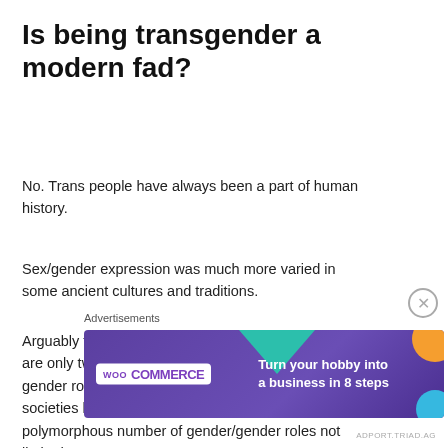Is being transgender a modern fad?
No. Trans people have always been a part of human history.
Sex/gender expression was much more varied in some ancient cultures and traditions.
Arguably the notion of a gender binary where there are only two genders/sexes and two corresponding gender roles  is a historical construct. Other societies have historically recognized a polymorphous number of gender/gender roles not limited to two
Advertisements
[Figure (infographic): WooCommerce advertisement banner with purple/dark background, teal triangle and orange/blue circle decorative shapes, WooCommerce logo and text 'Turn your hobby into a business in 8 steps']